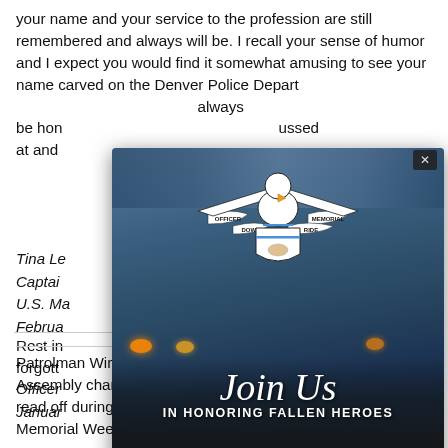your name and your service to the profession are still remembered and always will be. I recall your sense of humor and I expect you would find it somewhat amusing to see your name carved on the Denver Police Department... always be honored... discussed at and...
Tina Le...
Captain...
U.S. Ma...
Februa...
[Figure (infographic): Officer Down Memorial Ride popup ad showing logo with eagle and badge, text 'Join Us IN HONORING FALLEN HEROES 11TH ANNUAL OFFICER DOWN MEMORIAL RIDE SEPTEMBER 24, 2022' and a red REGISTER NOW button, with motorcycle background photo]
Rest in... forgott...
Officer...
Januar...
Patrolman Wirtz - Four Fridays ago, I stood in the State Assembly chambers when you name was one of almost 250 read off during a motion regarding this month's Peace Officer Memorial Week...